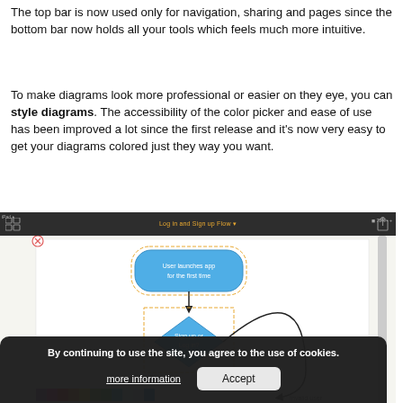The top bar is now used only for navigation, sharing and pages since the bottom bar now holds all your tools which feels much more intuitive.
To make diagrams look more professional or easier on they eye, you can style diagrams. The accessibility of the color picker and ease of use has been improved a lot since the first release and it's now very easy to get your diagrams colored just they way you want.
[Figure (screenshot): Screenshot of an iPad app showing a flowchart diagram editor with 'Log in and Sign up Flow' title in the top bar. The canvas shows a flowchart with a blue rounded rectangle labeled 'User launches app for the first time', connected to a blue diamond shape labeled 'Sign up or Log in?'. A dark cookie consent banner overlays the bottom of the screen with text 'By continuing to use the site, you agree to the use of cookies.' and buttons 'more information' and 'Accept'. A color palette strip is visible at the bottom.]